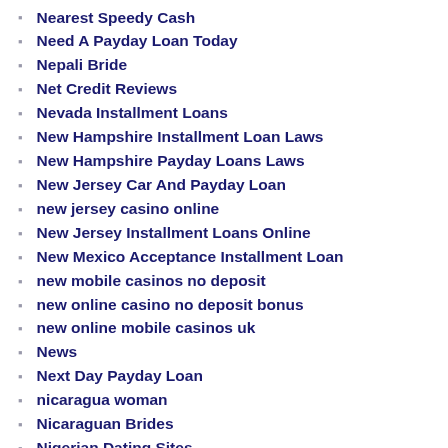Nearest Speedy Cash
Need A Payday Loan Today
Nepali Bride
Net Credit Reviews
Nevada Installment Loans
New Hampshire Installment Loan Laws
New Hampshire Payday Loans Laws
New Jersey Car And Payday Loan
new jersey casino online
New Jersey Installment Loans Online
New Mexico Acceptance Installment Loan
new mobile casinos no deposit
new online casino no deposit bonus
new online mobile casinos uk
News
Next Day Payday Loan
nicaragua woman
Nicaraguan Brides
Nigerian Dating Sites
No Credit Check Loans
no deposit casino bonuses